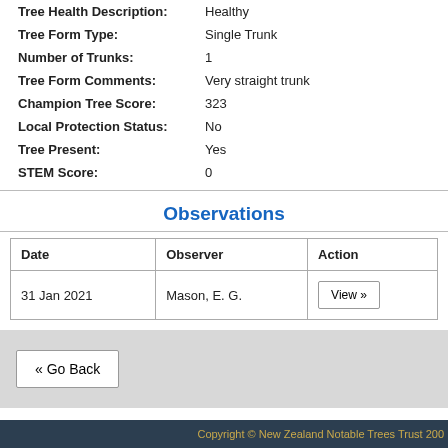Tree Health Description: Healthy
Tree Form Type: Single Trunk
Number of Trunks: 1
Tree Form Comments: Very straight trunk
Champion Tree Score: 323
Local Protection Status: No
Tree Present: Yes
STEM Score: 0
Observations
| Date | Observer | Action |
| --- | --- | --- |
| 31 Jan 2021 | Mason, E. G. | View » |
« Go Back
Copyright © New Zealand Notable Trees Trust 200...